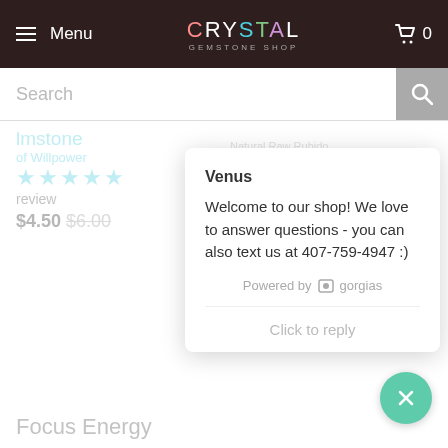Menu | CRYSTAL GEMSTONE SHOP | 0
Search
Body Pocket Stone
$4.50 $6.00
Venus
Welcome to our shop! We love to answer questions - you can also text us at 407-759-4947 :)
Powered by gorgias
Click to reply
Focus Energy